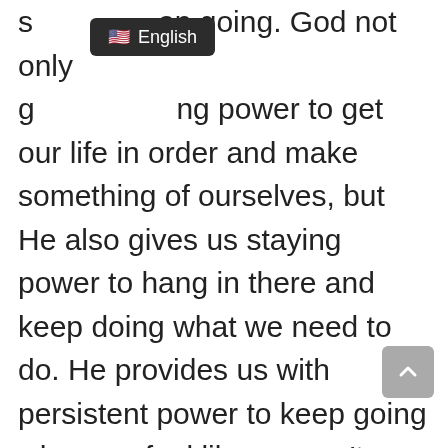s...ep going. God not only g...ng power to get our life in order and make something of ourselves, but He also gives us staying power to hang in there and keep doing what we need to do. He provides us with persistent power to keep going when we feel like we can't finish, and persistence pays off. Jesus's purpose for us has not changed. Because He lives, we can have abundant life and access to His power when our strength is not enough.